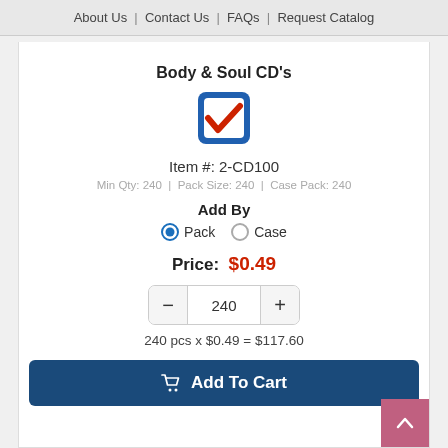About Us  | Contact Us  | FAQs  | Request Catalog
Body & Soul CD's
[Figure (logo): Blue and red checkbox checkmark logo icon]
Item #: 2-CD100
Min Qty: 240  |  Pack Size: 240  |  Case Pack: 240
Add By
● Pack  ○ Case
Price:  $0.49
240
240 pcs x $0.49 = $117.60
Add To Cart